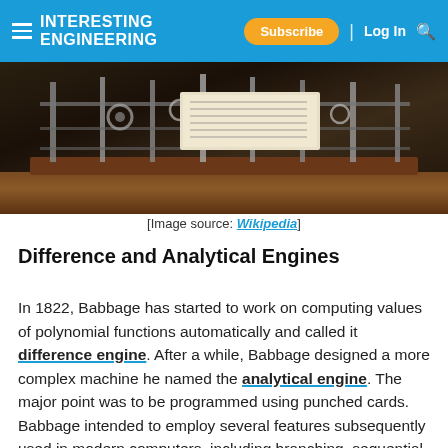Interesting Engineering — Subscribe | Log In
[Figure (photo): Museum display of Babbage's Difference Engine or Analytical Engine mechanical computing machine, dark background with metal gears and a descriptive placard.]
[Image source: Wikipedia]
Difference and Analytical Engines
In 1822, Babbage has started to work on computing values of polynomial functions automatically and called it difference engine. After a while, Babbage designed a more complex machine he named the analytical engine. The major point was to be programmed using punched cards. Babbage intended to employ several features subsequently used in modern computers, including branching, sequential control, and loops to control a mechanical calculator.